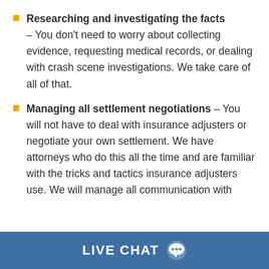Researching and investigating the facts – You don't need to worry about collecting evidence, requesting medical records, or dealing with crash scene investigations. We take care of all of that.
Managing all settlement negotiations – You will not have to deal with insurance adjusters or negotiate your own settlement. We have attorneys who do this all the time and are familiar with the tricks and tactics insurance adjusters use. We will manage all communication with
LIVE CHAT